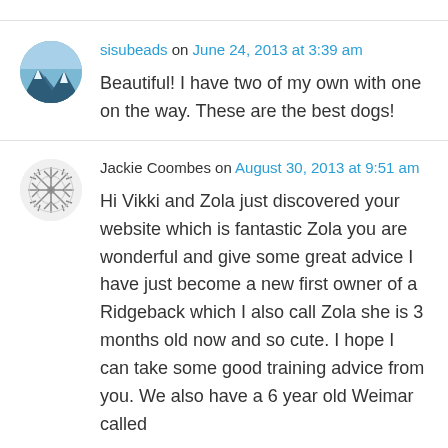sisubeads on June 24, 2013 at 3:39 am
Beautiful! I have two of my own with one on the way. These are the best dogs!
Jackie Coombes on August 30, 2013 at 9:51 am
Hi Vikki and Zola just discovered your website which is fantastic Zola you are wonderful and give some great advice I have just become a new first owner of a Ridgeback which I also call Zola she is 3 months old now and so cute. I hope I can take some good training advice from you. We also have a 6 year old Weimar called